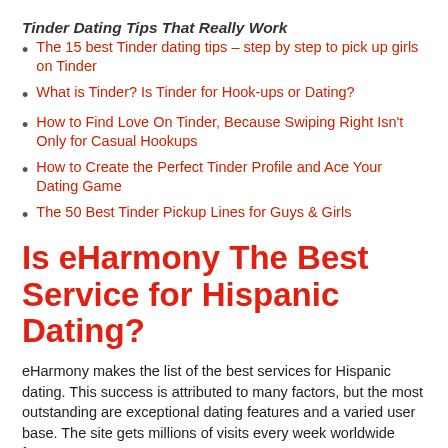Tinder Dating Tips That Really Work
The 15 best Tinder dating tips – step by step to pick up girls on Tinder
What is Tinder? Is Tinder for Hook-ups or Dating?
How to Find Love On Tinder, Because Swiping Right Isn't Only for Casual Hookups
How to Create the Perfect Tinder Profile and Ace Your Dating Game
The 50 Best Tinder Pickup Lines for Guys & Girls
Is eHarmony The Best Service for Hispanic Dating?
eHarmony makes the list of the best services for Hispanic dating. This success is attributed to many factors, but the most outstanding are exceptional dating features and a varied user base. The site gets millions of visits every week worldwide from